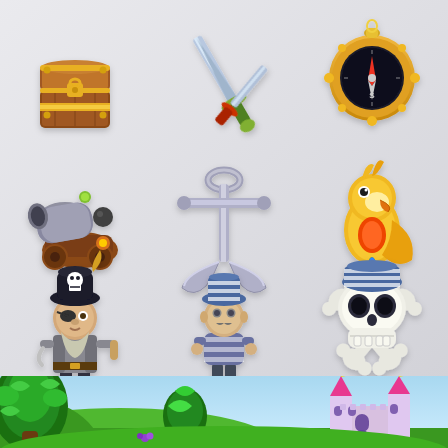[Figure (illustration): A 3x3 grid of cartoon pirate-themed icons on a light gray gradient background: Row 1: treasure chest, crossed sword and dagger, compass. Row 2: cannon, ship anchor, parrot. Row 3: pirate captain character, sailor character, skull and crossbones. Below the grid is a partial illustration of a jungle/castle scene with green trees and a pink castle.]